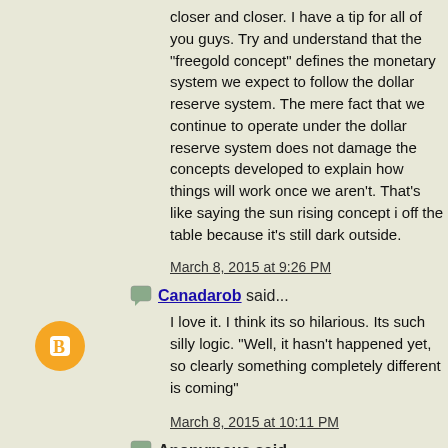closer and closer. I have a tip for all of you guys. Try and understand that the "freegold concept" defines the monetary system we expect to follow the dollar reserve system. The mere fact that we continue to operate under the dollar reserve system does not damage the concepts developed to explain how things will work once we aren't. That's like saying the sun rising concept is off the table because it's still dark outside.
March 8, 2015 at 9:26 PM
Canadarob said...
I love it. I think its so hilarious. Its such silly logic. "Well, it hasn't happened yet, so clearly something completely different is coming"
March 8, 2015 at 10:11 PM
Anonymous said...
I don't agree with it but gregor's analysis is not completely off. Again, it's not so much "freegold won't happen because it hasn't happened" as it is "it's too late and when freegold happens everything is messed up beyond repair" It doesn't make me happy but it's worth thinking about.
It's like gaining and gaining pounds and not taking care of your